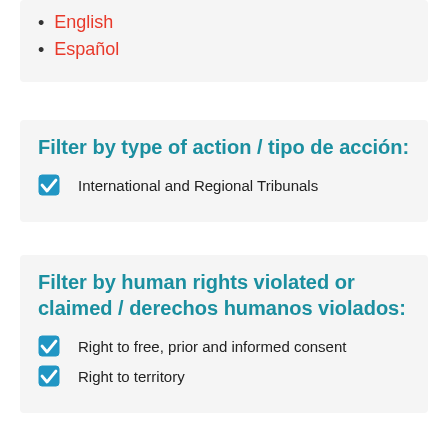English
Español
Filter by type of action / tipo de acción:
International and Regional Tribunals
Filter by human rights violated or claimed / derechos humanos violados:
Right to free, prior and informed consent
Right to territory